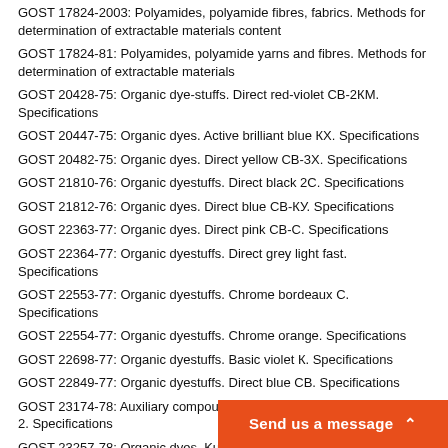GOST 17824-2003: Polyamides, polyamide fibres, fabrics. Methods for determination of extractable materials content
GOST 17824-81: Polyamides, polyamide yarns and fibres. Methods for determination of extractable materials
GOST 20428-75: Organic dye-stuffs. Direct red-violet СВ-2КМ. Specifications
GOST 20447-75: Organic dyes. Active brilliant blue КХ. Specifications
GOST 20482-75: Organic dyes. Direct yellow СВ-3Х. Specifications
GOST 21810-76: Organic dyestuffs. Direct black 2С. Specifications
GOST 21812-76: Organic dyes. Direct blue СВ-КУ. Specifications
GOST 22363-77: Organic dyes. Direct pink СВ-С. Specifications
GOST 22364-77: Organic dyestuffs. Direct grey light fast. Specifications
GOST 22553-77: Organic dyestuffs. Chrome bordeaux С. Specifications
GOST 22554-77: Organic dyestuffs. Chrome orange. Specifications
GOST 22698-77: Organic dyestuffs. Basic violet К. Specifications
GOST 22849-77: Organic dyestuffs. Direct blue СВ. Specifications
GOST 23174-78: Auxiliary compounds for textiles. Fixing agent stable-2. Specifications
GOST 23257-78: Organic dyes. Kubosol grey С. Specifications
GOST 23368-78: Organic dyes. Chrome yellow К. Specifications
GOST 23378-78: Organic dyes. Direct ruby СВ-МУ. Specifications
GOST 24235-80: Organic dyes. Acid b…